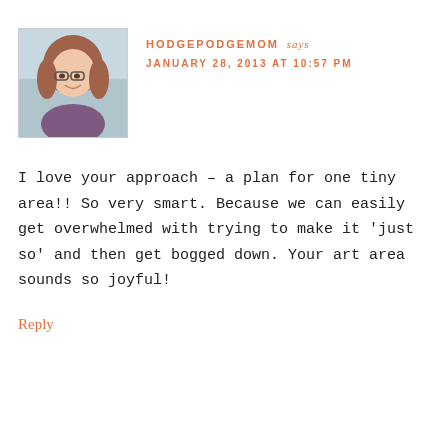[Figure (photo): Profile photo of a smiling woman with reddish-brown hair and glasses, wearing a purple shirt, with a light outdoor background.]
HODGEPODGEMOM says
JANUARY 28, 2013 AT 10:57 PM
I love your approach – a plan for one tiny area!! So very smart. Because we can easily get overwhelmed with trying to make it 'just so' and then get bogged down. Your art area sounds so joyful!
Reply